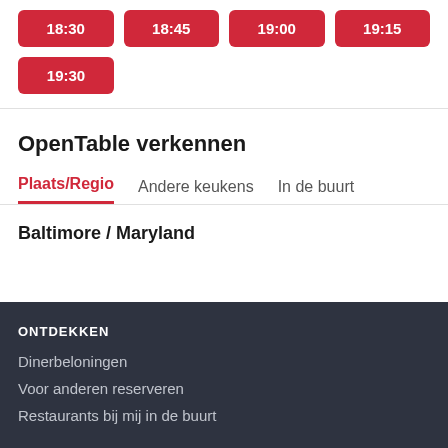18:30
18:45
19:00
19:15
19:30
OpenTable verkennen
Plaats/Regio   Andere keukens   In de buurt
Baltimore / Maryland
ONTDEKKEN
Dinerbeloningen
Voor anderen reserveren
Restaurants bij mij in de buurt